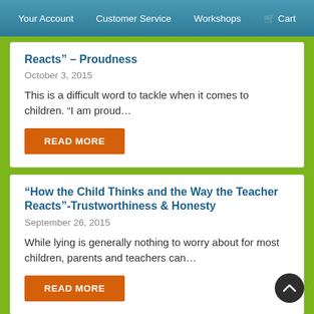Your Account   Customer Service   Workshops   Cart
Reacts” – Proudness
October 3, 2015
This is a difficult word to tackle when it comes to children. "I am proud…
READ MORE
“How the Child Thinks and the Way the Teacher Reacts"-Trustworthiness & Honesty
September 26, 2015
While lying is generally nothing to worry about for most children, parents and teachers can…
READ MORE